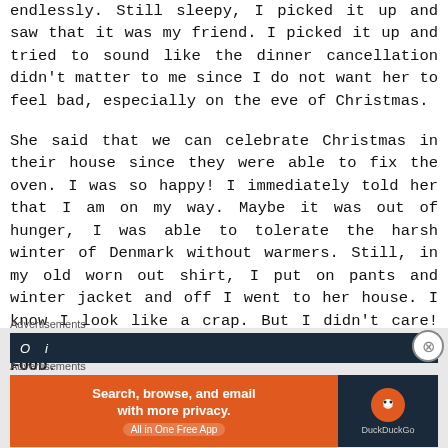endlessly. Still sleepy, I picked it up and saw that it was my friend. I picked it up and tried to sound like the dinner cancellation didn't matter to me since I do not want her to feel bad, especially on the eve of Christmas.
She said that we can celebrate Christmas in their house since they were able to fix the oven. I was so happy! I immediately told her that I am on my way. Maybe it was out of hunger, I was able to tolerate the harsh winter of Denmark without warmers. Still, in my old worn out shirt, I put on pants and winter jacket and off I went to her house. I know I look like a crap. But I didn't care! All that mattered to me during that time was FOOD.
[Figure (screenshot): Two advertisement banners. First is a dark navy bar with partial white italic text visible. Second is a DuckDuckGo ad with orange section reading 'Search, browse, and email with more privacy. All in One Free App' and dark section with DuckDuckGo logo and duck icon.]